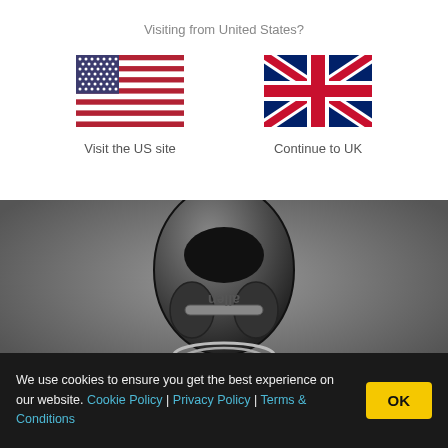Visiting from United States?
[Figure (illustration): US flag SVG illustration]
Visit the US site
[Figure (illustration): UK flag (Union Jack) SVG illustration]
Continue to UK
[Figure (photo): Close-up photo of a black and grey Allen sailing block/pulley component on a grey background]
We use cookies to ensure you get the best experience on our website. Cookie Policy | Privacy Policy | Terms & Conditions